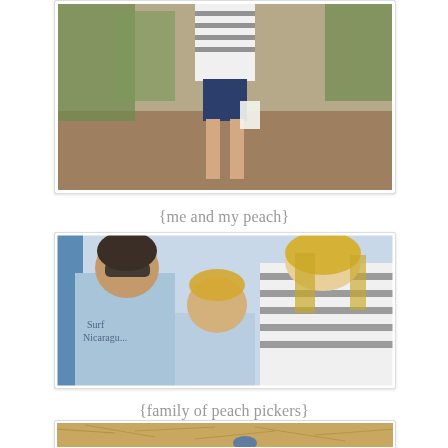[Figure (photo): Partial view of a person in striped shirt and blue shorts standing in a peach orchard, holding a bag. Dirt ground with trees in background.]
{me and my peach}
[Figure (photo): A man with sunglasses and a 'Surf Nicaragua' t-shirt, a young blonde child, and a woman in a striped shirt smiling together outdoors. Family photo at a peach orchard.]
{family of peach pickers}
[Figure (photo): Partial view of a person near hay/straw ground outdoors, bottom of page, partially cut off.]